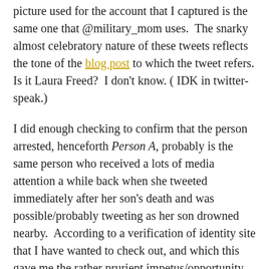picture used for the account that I captured is the same one that @military_mom uses.  The snarky almost celebratory nature of these tweets reflects the tone of the blog post to which the tweet refers. Is it Laura Freed?  I don't know. ( IDK in twitter-speak.)
I did enough checking to confirm that the person arrested, henceforth Person A, probably is the same person who received a lots of media attention a while back when she tweeted immediately after her son's death and was possible/probably tweeting as her son drowned nearby.  According to a verification of identity site that I have wanted to check out, and which this gave me the rather prurient impetus/opportunity to do so, the name and alias, and places match the tweeting mother.